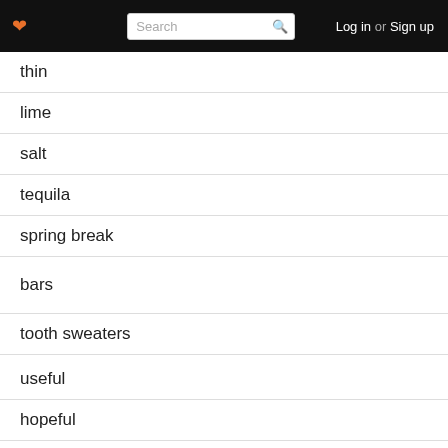Log in or Sign up
thin
lime
salt
tequila
spring break
bars
tooth sweaters
useful
hopeful
controlled
procrastinating